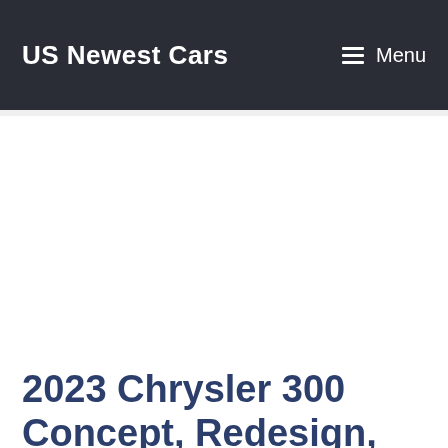US Newest Cars
2023 Chrysler 300 Concept, Redesign, Price